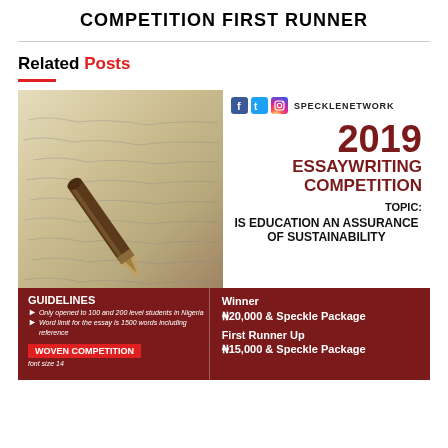COMPETITION FIRST RUNNER
Related Posts
[Figure (infographic): 2019 Essay Writing Competition flyer by SpeckleNetwork. Topic: Is Education an Assurance of Sustainability. Shows a fountain pen on handwritten paper, social media icons, event title, guidelines and prize information. Winner: ₦20,000 & Speckle Package. First Runner Up: ₦15,000 & Speckle Package. Guidelines: Only opened to 100 and 200 level students in Nigeria. Word limit for the essay is 1500 words including reference. Woven Competition. Font size 14.]